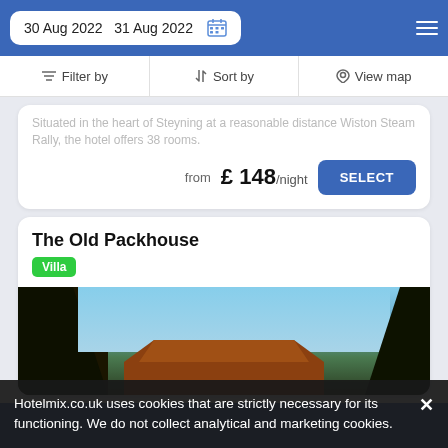30 Aug 2022   31 Aug 2022
Filter by   Sort by   View map
Situated in the heart of Steyning at a reasonable distance Wiston Steam Rally, the hotel offers 38 rooms.
from £ 148/night
The Old Packhouse
Villa
[Figure (photo): Exterior photo of The Old Packhouse showing trees in foreground and a building with a reddish-brown roof against a blue sky]
Hotelmix.co.uk uses cookies that are strictly necessary for its functioning. We do not collect analytical and marketing cookies.